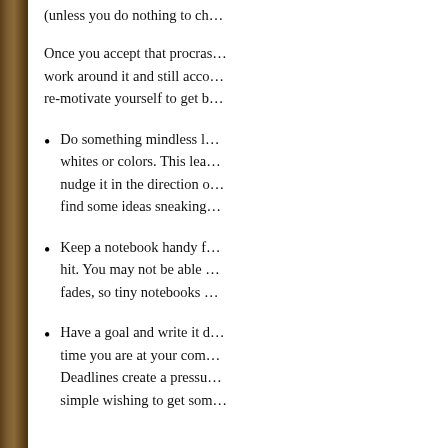(unless you do nothing to ch…
Once you accept that procras… work around it and still acco… re-motivate yourself to get b…
Do something mindless l… whites or colors. This lea… nudge it in the direction o… find some ideas sneaking…
Keep a notebook handy f… hit. You may not be able … fades, so tiny notebooks …
Have a goal and write it d… time you are at your com… Deadlines create a pressu… simple wishing to get som…